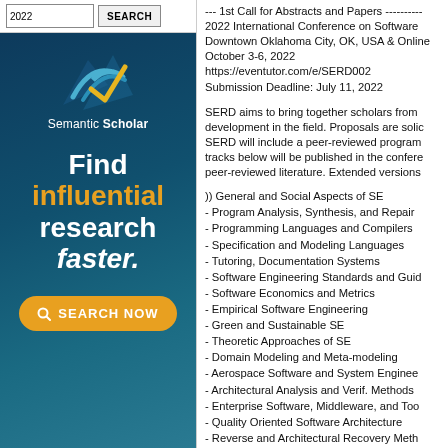[Figure (logo): Semantic Scholar advertisement banner with logo, tagline 'Find influential research faster.' and a Search Now button]
--- 1st Call for Abstracts and Papers ----------
2022 International Conference on Software
Downtown Oklahoma City, OK, USA & Online
October 3-6, 2022
https://eventutor.com/e/SERD002
Submission Deadline: July 11, 2022
SERD aims to bring together scholars from development in the field. Proposals are solicited. SERD will include a peer-reviewed program. tracks below will be published in the conference peer-reviewed literature. Extended versions
)) General and Social Aspects of SE
- Program Analysis, Synthesis, and Repair
- Programming Languages and Compilers
- Specification and Modeling Languages
- Tutoring, Documentation Systems
- Software Engineering Standards and Guidelines
- Software Economics and Metrics
- Empirical Software Engineering
- Green and Sustainable SE
- Theoretic Approaches of SE
- Domain Modeling and Meta-modeling
- Aerospace Software and System Engineering
- Architectural Analysis and Verif. Methods
- Enterprise Software, Middleware, and Tools
- Quality Oriented Software Architecture
- Reverse and Architectural Recovery Methods
- Domain Specific Software Engineering